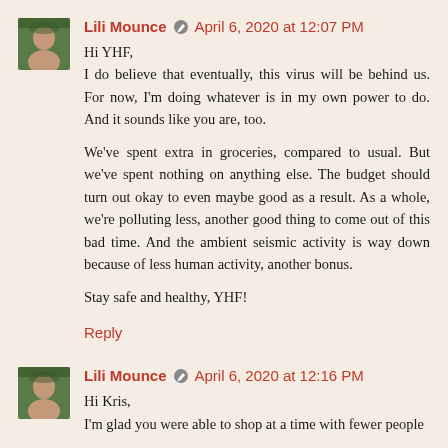Lili Mounce · April 6, 2020 at 12:07 PM
Hi YHF,
I do believe that eventually, this virus will be behind us. For now, I'm doing whatever is in my own power to do. And it sounds like you are, too.

We've spent extra in groceries, compared to usual. But we've spent nothing on anything else. The budget should turn out okay to even maybe good as a result. As a whole, we're polluting less, another good thing to come out of this bad time. And the ambient seismic activity is way down because of less human activity, another bonus.

Stay safe and healthy, YHF!
Reply
Lili Mounce · April 6, 2020 at 12:16 PM
Hi Kris,
I'm glad you were able to shop at a time with fewer people